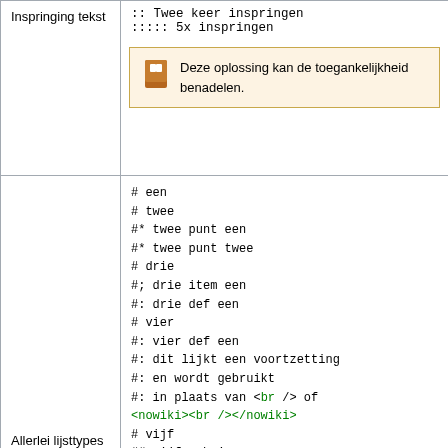| Inspringing tekst | :: Twee keer inspringen
::::: 5x inspringen
[warning: Deze oplossing kan de toegankelijkheid benadelen.] |
| Allerlei lijsttypes door elkaar | # een
# twee
#* twee punt een
#* twee punt twee
# drie
#; drie item een
#: drie def een
# vier
#: vier def een
#: dit lijkt een voortzetting
#: en wordt gebruikt
#: in plaats van <br /> of <nowiki><br /></nowiki>
# vijf
## vijf sub 1 |